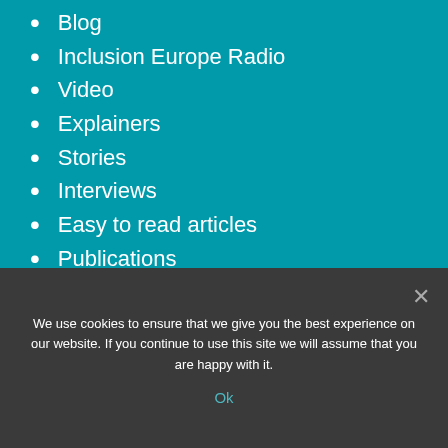Blog
Inclusion Europe Radio
Video
Explainers
Stories
Interviews
Easy to read articles
Publications
Newsletters
We use cookies to ensure that we give you the best experience on our website. If you continue to use this site we will assume that you are happy with it.
Ok